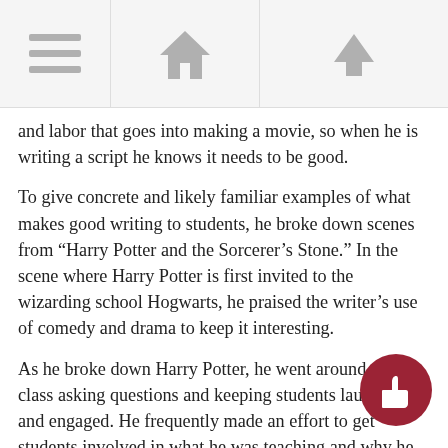[Navigation bar with menu, home, and up icons]
and labor that goes into making a movie, so when he is writing a script he knows it needs to be good.
To give concrete and likely familiar examples of what makes good writing to students, he broke down scenes from “Harry Potter and the Sorcerer’s Stone.” In the scene where Harry Potter is first invited to the wizarding school Hogwarts, he praised the writer’s use of comedy and drama to keep it interesting.
As he broke down Harry Potter, he went around the class asking questions and keeping students laughing and engaged. He frequently made an effort to get students involved in what he was teaching and why he was teaching it.
He made a point to describe why some scenes in movies are more difficult to write than others. For example, fighting scenes are easy because there is little dialogue, while on the other hand writing everyday conversations are the most difficult because it is hard making the dialogue flow in a natural way.
Another notable moment was when he explained reversals. For